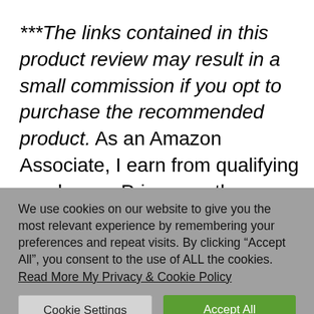***The links contained in this product review may result in a small commission if you opt to purchase the recommended product. As an Amazon Associate, I earn from qualifying purchases. Prices are the same for you if your purchase is through an affiliate link or a non-affiliate link. You will not pay more by clicking through to the link. St...
We use cookies on our website to give you the most relevant experience by remembering your preferences and repeat visits. By clicking “Accept All”, you consent to the use of ALL the cookies. Read More My Privacy & Cookie Policy